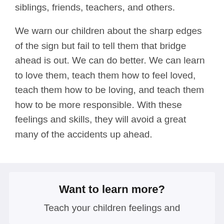daily conflicts they experience with their siblings, friends, teachers, and others.
We warn our children about the sharp edges of the sign but fail to tell them that bridge ahead is out. We can do better. We can learn to love them, teach them how to feel loved, teach them how to be loving, and teach them how to be more responsible. With these feelings and skills, they will avoid a great many of the accidents up ahead.
Want to learn more?
Teach your children feelings and